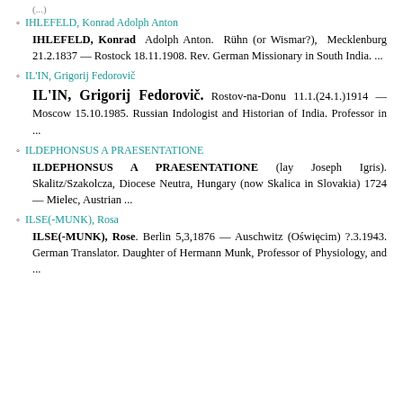IHLEFELD, Konrad Adolph Anton
IHLEFELD, Konrad Adolph Anton. Rühn (or Wismar?), Mecklenburg 21.2.1837 — Rostock 18.11.1908. Rev. German Missionary in South India. ...
IL'IN, Grigorij Fedorovič
IL'IN, Grigorij Fedorovič. Rostov-na-Donu 11.1.(24.1.)1914 — Moscow 15.10.1985. Russian Indologist and Historian of India. Professor in ...
ILDEPHONSUS A PRAESENTATIONE
ILDEPHONSUS A PRAESENTATIONE (lay Joseph Igris). Skalitz/Szakolcza, Diocese Neutra, Hungary (now Skalica in Slovakia) 1724 — Mielec, Austrian ...
ILSE(-MUNK), Rosa
ILSE(-MUNK), Rose. Berlin 5,3,1876 — Auschwitz (Oświęcim) ?.3.1943. German Translator. Daughter of Hermann Munk, Professor of Physiology, and ...